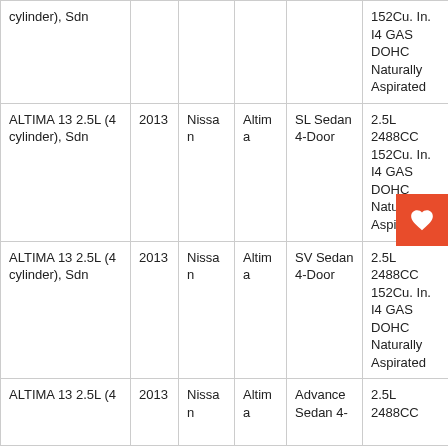| Name | Year | Make | Model | Submodel | Engine |
| --- | --- | --- | --- | --- | --- |
| ALTIMA 13 2.5L (4 cylinder), Sdn | 2013 | Nissan | Altima | (partial - clipped) | 152Cu. In. I4 GAS DOHC Naturally Aspirated |
| ALTIMA 13 2.5L (4 cylinder), Sdn | 2013 | Nissan | Altima | SL Sedan 4-Door | 2.5L 2488CC 152Cu. In. I4 GAS DOHC Naturally Aspirated |
| ALTIMA 13 2.5L (4 cylinder), Sdn | 2013 | Nissan | Altima | SV Sedan 4-Door | 2.5L 2488CC 152Cu. In. I4 GAS DOHC Naturally Aspirated |
| ALTIMA 13 2.5L (4 | 2013 | Nissan | Altima | Advance Sedan 4- | 2.5L 2488CC |